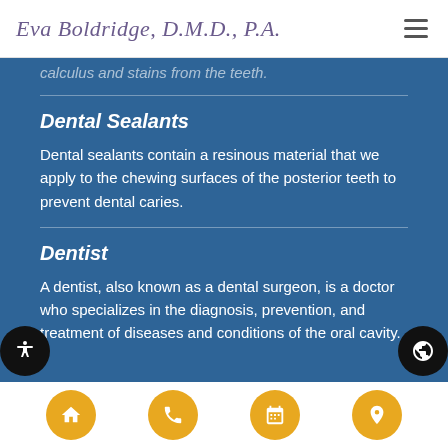Eva Boldridge, D.M.D., P.A.
calculus and stains from the teeth.
Dental Sealants
Dental sealants contain a resinous material that we apply to the chewing surfaces of the posterior teeth to prevent dental caries.
Dentist
A dentist, also known as a dental surgeon, is a doctor who specializes in the diagnosis, prevention, and treatment of diseases and conditions of the oral cavity.